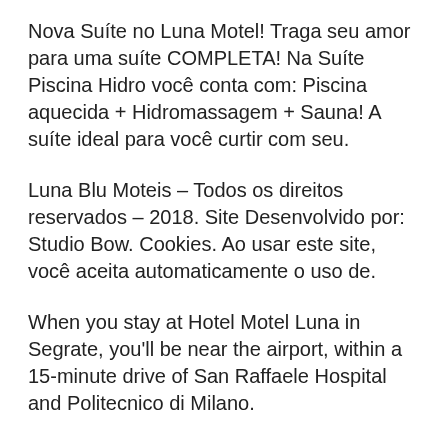Nova Suíte no Luna Motel! Traga seu amor para uma suíte COMPLETA! Na Suíte Piscina Hidro você conta com: Piscina aquecida + Hidromassagem + Sauna! A suíte ideal para você curtir com seu.
Luna Blu Moteis – Todos os direitos reservados – 2018. Site Desenvolvido por: Studio Bow. Cookies. Ao usar este site, você aceita automaticamente o uso de.
When you stay at Hotel Motel Luna in Segrate, you'll be near the airport, within a 15-minute drive of San Raffaele Hospital and Politecnico di Milano.